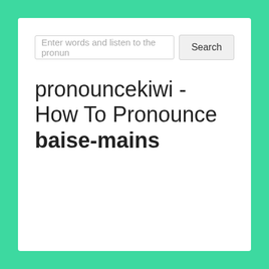[Figure (screenshot): Search input field with placeholder text 'Enter words and listen to the pronun' and a Search button]
pronouncekiwi - How To Pronounce baise-mains